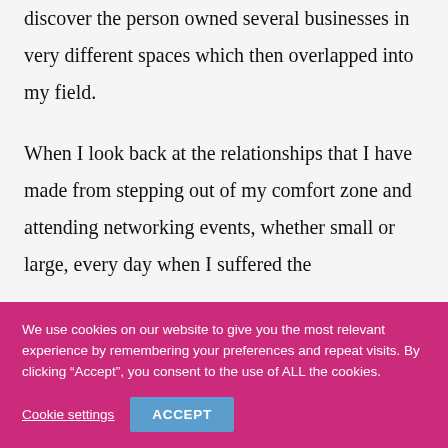started in one space only to discover the person owned several businesses in very different spaces which then overlapped into my field.

When I look back at the relationships that I have made from stepping out of my comfort zone and attending networking events, whether small or large, every day when I suffered the
We use cookies on our website to give you the most relevant experience by remembering your preferences and repeat visits. By clicking “Accept”, you consent to the use of ALL the cookies.
Cookie settings
ACCEPT